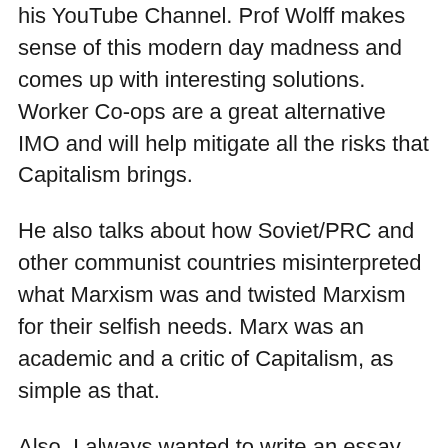his YouTube Channel. Prof Wolff makes sense of this modern day madness and comes up with interesting solutions. Worker Co-ops are a great alternative IMO and will help mitigate all the risks that Capitalism brings.
He also talks about how Soviet/PRC and other communist countries misinterpreted what Marxism was and twisted Marxism for their selfish needs. Marx was an academic and a critic of Capitalism, as simple as that.
Also, I always wanted to write an essay about “Rocket Singh…Salesman of the year” movie. It is IMO not only one of the greatest movies made in India, but also a great case study in how a Worker Co-op defeats a capitalist company,